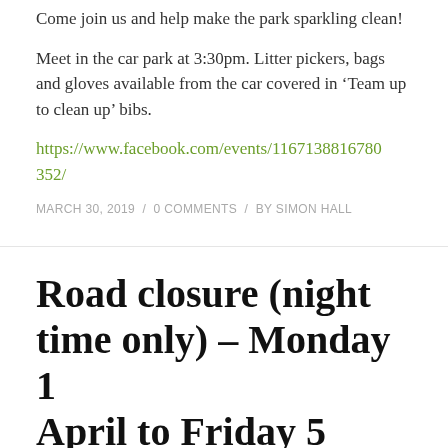Come join us and help make the park sparkling clean!
Meet in the car park at 3:30pm. Litter pickers, bags and gloves available from the car covered in ‘Team up to clean up’ bibs.
https://www.facebook.com/events/1167138816780352/
MARCH 30, 2019 / 0 COMMENTS / BY SIMON HALL
Road closure (night time only) – Monday 1 April to Friday 5 April: